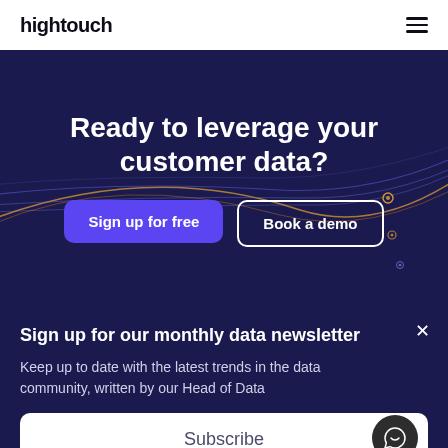hightouch
Ready to leverage your customer data?
[Figure (illustration): Dark navy background with colorful abstract flowing lines (red, orange, blue, purple) crossing the hero section horizontally, with small glowing circular nodes at intersections on the right side.]
Sign up for free
Book a demo
Sign up for our monthly data newsletter
Keep up to date with the latest trends in the data community, written by our Head of Data
Subscribe